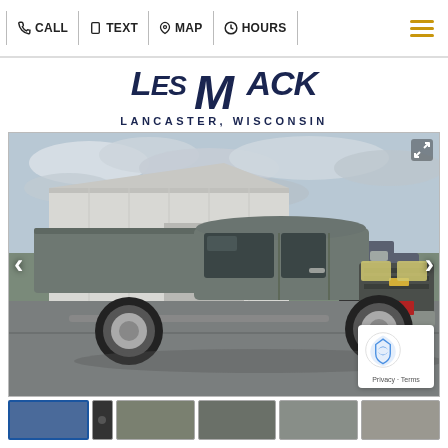CALL | TEXT | MAP | HOURS
[Figure (logo): Les Mack Lancaster, Wisconsin dealership logo in dark navy blue with large stylized lettering]
[Figure (photo): Gray Chevrolet Silverado pickup truck with a camper shell/topper, parked in a dealership lot in front of a large white metal building. Cloudy sky. Left and right navigation arrows visible. Small reCAPTCHA badge in lower right corner.]
[Figure (photo): Thumbnail strip of vehicle photos at the bottom of the page]